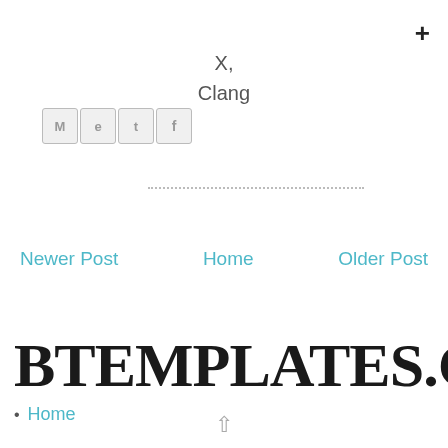+
X,
Clang
[Figure (other): Social share icons: Gmail (M), Blogger (e), Twitter (t), Facebook (f)]
...............................................
Newer Post    Home    Older Post
BTEMPLATES.COM
Home
↑